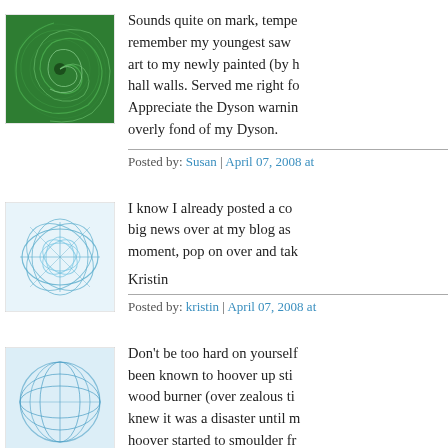[Figure (illustration): Green spiral pattern avatar icon, square with decorative circular swirl design on green background]
Sounds quite on mark, tempe... remember my youngest saw... art to my newly painted (by h... hall walls. Served me right fo... Appreciate the Dyson warnin... overly fond of my Dyson.
Posted by: Susan | April 07, 2008 at...
[Figure (illustration): Blue geometric net/mesh pattern avatar icon, square with light blue curved line grid on white/light blue background]
I know I already posted a co... big news over at my blog as ... moment, pop on over and tak...
Kristin
Posted by: kristin | April 07, 2008 at...
[Figure (illustration): Blue globe/sphere wireframe avatar icon, square with blue curved meridian lines forming a globe shape on light blue background]
Don't be too hard on yourself... been known to hoover up sti... wood burner (over zealous ti... knew it was a disaster until m... hoover started to smoulder fr...